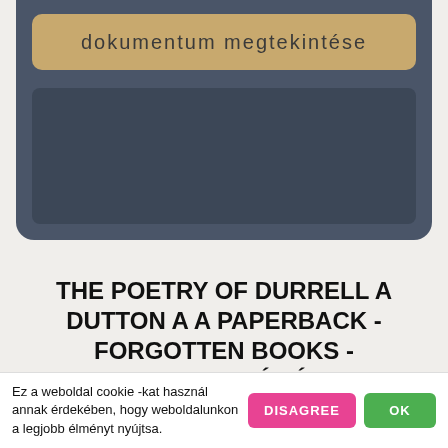dokumentum megtekintése
THE POETRY OF DURRELL A DUTTON A A PAPERBACK - FORGOTTEN BOOKS - KAPCSOLÓDÓ DOKUMENTUMOK
THE POETRY OF DURRELL A DUTTON A A PA...
Ez a weboldal cookie -kat használ annak érdekében, hogy weboldalunkon a legjobb élményt nyújtsa.
DISAGREE
OK